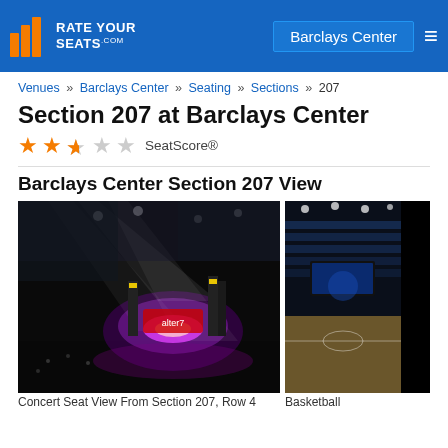RateYourSeats.com | Barclays Center
Venues » Barclays Center » Seating » Sections » 207
Section 207 at Barclays Center
★★★☆☆ SeatScore®
Barclays Center Section 207 View
[Figure (photo): Concert seat view from Section 207, Row 4 at Barclays Center showing stage with purple/pink lighting and beam lights, crowd visible]
Concert Seat View From Section 207, Row 4
[Figure (photo): Basketball game view from upper section at Barclays Center]
Basketball